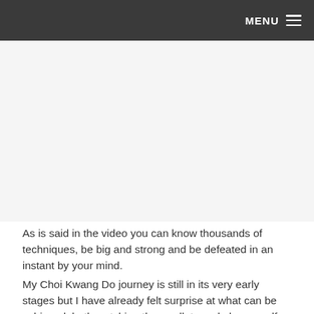MENU
[Figure (photo): Embedded video or image placeholder area, large white/light grey region below the navigation bar]
As is said in the video you can know thousands of techniques, be big and strong and be defeated in an instant by your mind.
My Choi Kwang Do journey is still in its very early stages but I have already felt surprise at what can be achieved, both watching the predlets and also myself.
Something that is very important is experiencing flow.